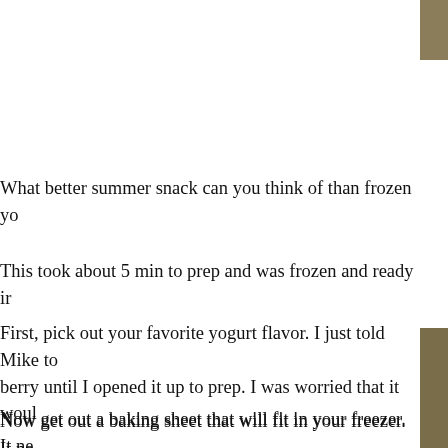[Figure (photo): Partial photo visible at top-right corner of page, showing food-related content with olive/tan coloring.]
What better summer snack can you think of than frozen yo
This took about 5 min to prep and was frozen and ready ir
First, pick out your favorite yogurt flavor. I just told Mike to berry until I opened it up to prep. I was worried that it woul
Now get out a baking sheet that will fit in your freezer. It ne
Scoop your yogurt into a plastic zip baggie. Cut a small ho
[Figure (photo): Partial photo visible at bottom-right corner of page, showing food-related content with olive/tan/brown coloring.]